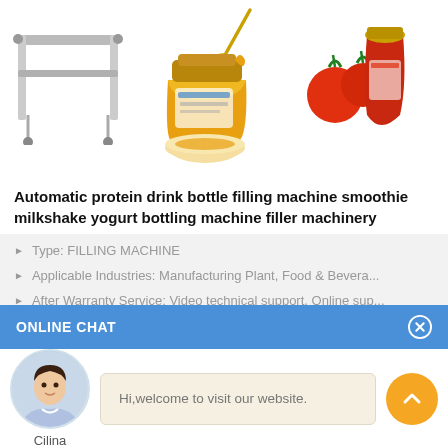[Figure (photo): Product images: a filling machine frame on the left, a jar of honey with a honey dipper and bowl in the center, and a jar of tomato sauce with tomatoes on the right]
Automatic protein drink bottle filling machine smoothie milkshake yogurt bottling machine filler machinery
Type: FILLING MACHINE
Applicable Industries: Manufacturing Plant, Food & Bevera...
After Warranty Service: Video technical support, Online sup...
ONLINE CHAT
[Figure (photo): Avatar photo of a woman named Cilina in a light blue shirt]
Cilina
Hi,welcome to visit our website.